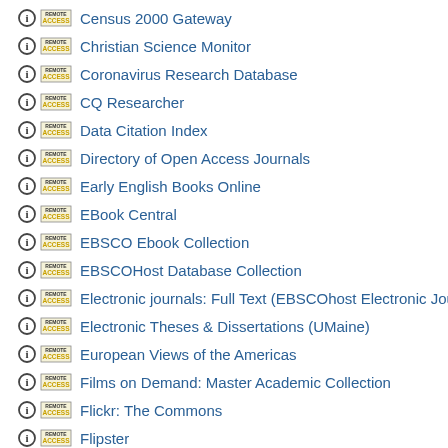Census 2000 Gateway
Christian Science Monitor
Coronavirus Research Database
CQ Researcher
Data Citation Index
Directory of Open Access Journals
Early English Books Online
EBook Central
EBSCO Ebook Collection
EBSCOHost Database Collection
Electronic journals: Full Text (EBSCOhost Electronic Jou…
Electronic Theses & Dissertations (UMaine)
European Views of the Americas
Films on Demand: Master Academic Collection
Flickr: The Commons
Flipster
Global Newsstream
Google news archive